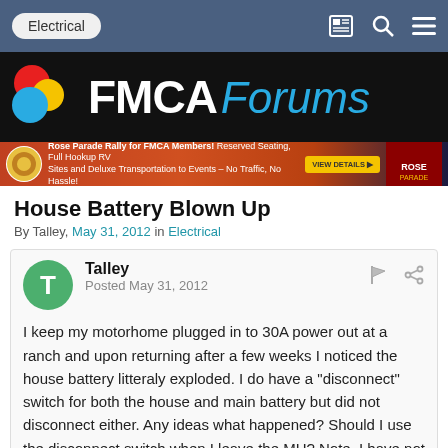Electrical
[Figure (logo): FMCA Forums logo with colorful speech bubble circles and white/blue text on black background]
[Figure (infographic): Rose Parade Rally for FMCA Members advertisement banner — Reserved Seating, Full Hookup RV Sites and Deluxe Transportation to Events – No Traffic, No Hassle!]
House Battery Blown Up
By Talley, May 31, 2012 in Electrical
Talley
Posted May 31, 2012
I keep my motorhome plugged in to 30A power out at a ranch and upon returning after a few weeks I noticed the house battery litteraly exploded. I do have a "disconnect" switch for both the house and main battery but did not disconnect either. Any ideas what happened? Should I use the disconnect switch when I leave the MH? Note, I have not checked the voltage while plugged in so not sure if my charger/converter is working properly.